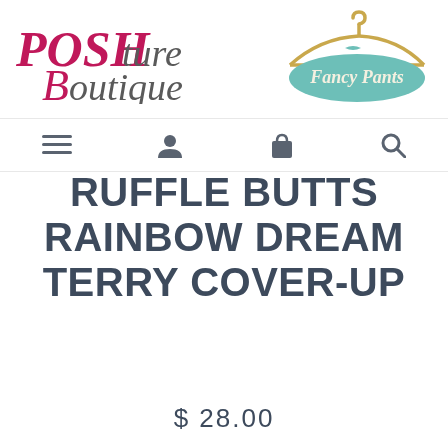[Figure (logo): POSHture Boutique logo in pink/grey italic serif font]
[Figure (logo): Fancy Pants logo with gold hanger and teal badge]
[Figure (other): Navigation icons: hamburger menu, user profile, shopping bag, search]
RUFFLE BUTTS RAINBOW DREAM TERRY COVER-UP
$ 28.00